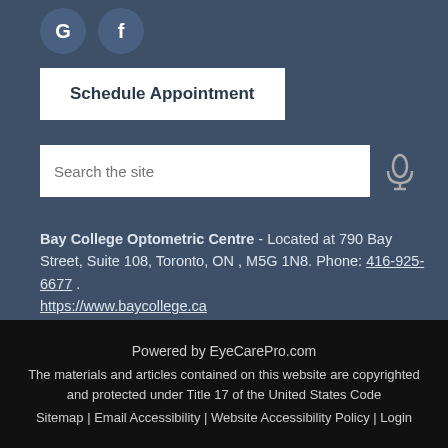[Figure (logo): Google 'G' icon circle and Facebook 'f' icon circle, social media buttons]
Schedule Appointment
Search the site
Bay College Optometric Centre - Located at 790 Bay Street, Suite 108, Toronto, ON , M5G 1N8. Phone: 416-925-6677 . https://www.baycollege.ca
Powered by EyeCarePro.com
The materials and articles contained on this website are copyrighted and protected under Title 17 of the United States Code
Sitemap | Email Accessibility | Website Accessibility Policy | Login